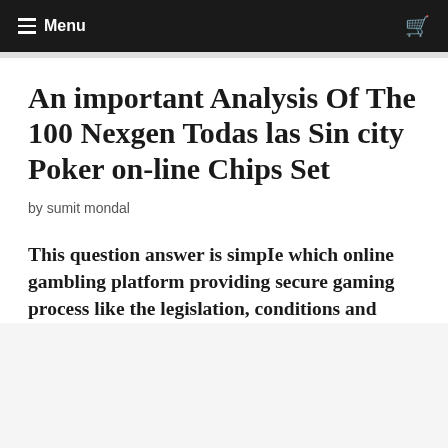☰ Menu
An important Analysis Of The 100 Nexgen Todas las Sin city Poker on-line Chips Set
by sumit mondal
This question answer is simple which online gambling platform providing secure gaming process like the legislation, conditions and